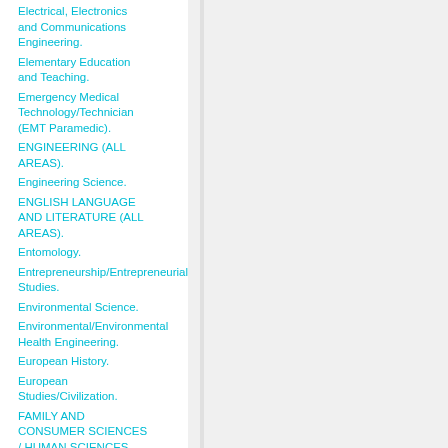Electrical, Electronics and Communications Engineering.
Elementary Education and Teaching.
Emergency Medical Technology/Technician (EMT Paramedic).
ENGINEERING (ALL AREAS).
Engineering Science.
ENGLISH LANGUAGE AND LITERATURE (ALL AREAS).
Entomology.
Entrepreneurship/Entrepreneurial Studies.
Environmental Science.
Environmental/Environmental Health Engineering.
European History.
European Studies/Civilization.
FAMILY AND CONSUMER SCIENCES / HUMAN SCIENCES (ALL AREAS).